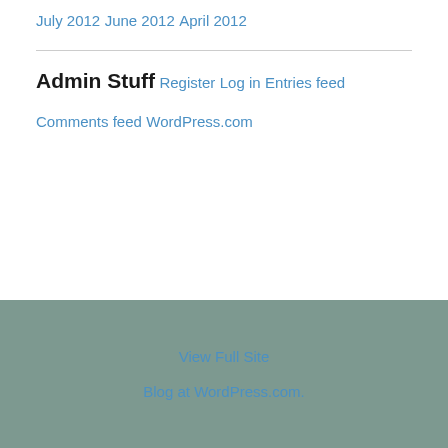July 2012
June 2012
April 2012
Admin Stuff
Register
Log in
Entries feed
Comments feed
WordPress.com
View Full Site
Blog at WordPress.com.